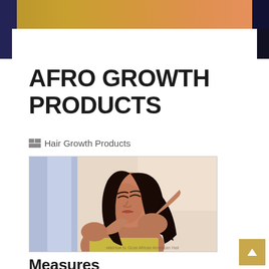AFRO GROWTH PRODUCTS
Hair Growth Products
[Figure (illustration): Illustrated drawing of a woman with dark hair holding her hair back with both hands, head tilted, eyes closed, with a light blue background. Watermark text visible at bottom.]
Measures